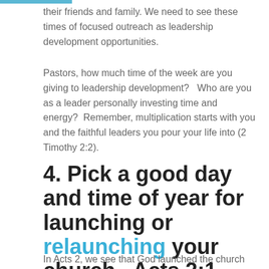their friends and family. We need to see these times of focused outreach as leadership development opportunities.
Pastors, how much time of the week are you giving to leadership development?   Who are you as a leader personally investing time and energy?  Remember, multiplication starts with you and the faithful leaders you pour your life into (2 Timothy 2:2).
4. Pick a good day and time of year for launching or relaunching your church.  Acts 2:1
In Acts 2, we see that God launched the church on the